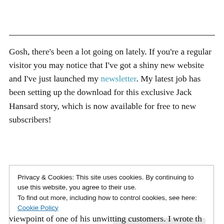Gosh, there's been a lot going on lately. If you're a regular visitor you may notice that I've got a shiny new website and I've just launched my newsletter. My latest job has been setting up the download for this exclusive Jack Hansard story, which is now available for free to new subscribers!
Privacy & Cookies: This site uses cookies. By continuing to use this website, you agree to their use.
To find out more, including how to control cookies, see here: Cookie Policy
viewpoint of one of his unwitting customers. I wrote th